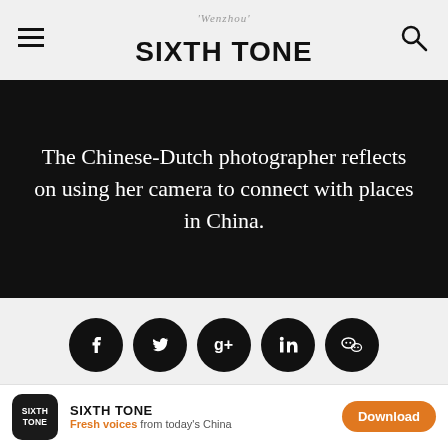SIXTH TONE
The Chinese-Dutch photographer reflects on using her camera to connect with places in China.
[Figure (infographic): Row of five social media share buttons: Facebook, Twitter, Google+, LinkedIn, WeChat]
Ming Ye
Jun 17, 2019 | 8-min read
SIXTH TONE — Fresh voices from today's China — Download